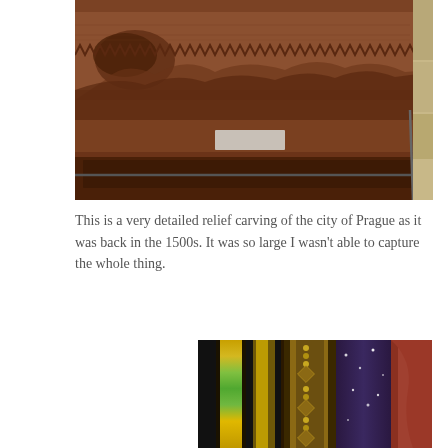[Figure (photo): Close-up photograph of a large detailed bronze or wooden relief carving of the city of Prague from the 1500s, showing architectural and landscape details. A small white label sign is visible below the carving, and a metal railing separates the viewer from the artwork. A stone wall is visible on the right edge.]
This is a very detailed relief carving of the city of Prague as it was back in the 1500s. It was so large I wasn't able to capture the whole thing.
[Figure (photo): Dark interior photograph showing ornate decorative columns or pillars with golden and jeweled ornamentation, green gem-studded vertical strip, diamond-pattern metalwork, and a partial view of a colorful painting or mosaic with blue sky, stars, and reddish-brown figure on the right side.]